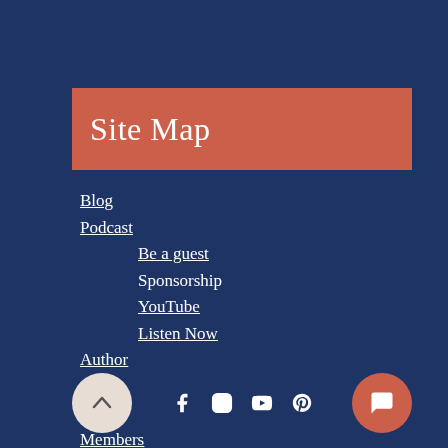Site Map
Blog
Podcast
Be a guest
Sponsorship
YouTube
Listen Now
Author
Shop
About
Members
Contact
[Figure (infographic): Footer with back-to-top button (chevron up icon on beige circle), social media icons (Facebook, Instagram, YouTube, Pinterest) in white, and a chat button (speech bubble icon on coral/red circle)]